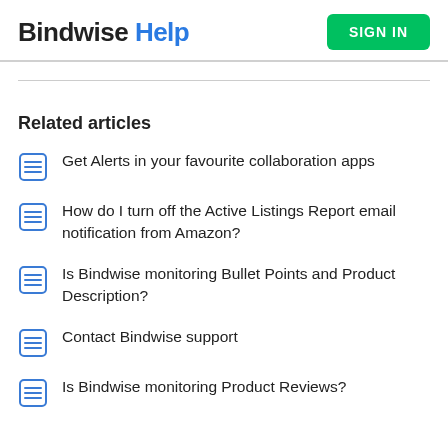Bindwise Help | SIGN IN
Related articles
Get Alerts in your favourite collaboration apps
How do I turn off the Active Listings Report email notification from Amazon?
Is Bindwise monitoring Bullet Points and Product Description?
Contact Bindwise support
Is Bindwise monitoring Product Reviews?